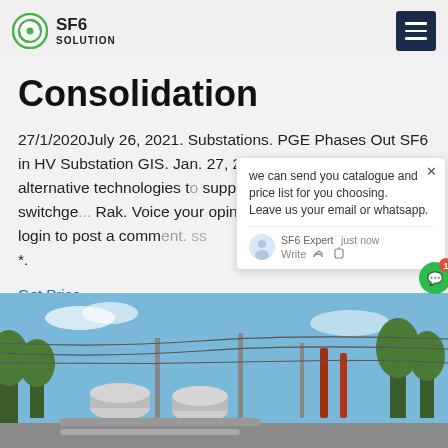SF6 SOLUTION
Consolidation
27/1/2020July 26, 2021. Substations. PGE Phases Out SF6 in HV Substation GIS. Jan. 27, 2020. PGE evaluates alternative technologies to suppliers for gas-insulated switchge... Rak. Voice your opinion! This site re... register or login to post a comment. SS *.
Get Price
[Figure (screenshot): Chat popup overlay showing: 'we can send you catalogue and price list for you choosing. Leave us your email or whatsapp.' with SF6 Expert avatar and 'just now' timestamp, Write field with thumbs up and paperclip icons.]
[Figure (photo): Outdoor electrical substation photo showing gas-insulated switchgear equipment, cylindrical tanks, insulators, high voltage lines, and trees in background under blue sky.]